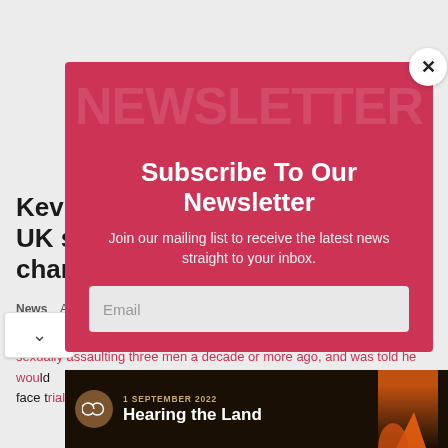Kevin Spacey pleads not guilty to UK sex charges
News  |  A...
Oscar-winning actor Kevin Spacey has pleaded not guilty to charges of sexually assaulting three men a decade or more ago, and was told he would face trial next year.
[Figure (screenshot): Newsletter subscription modal overlay with red background showing 'Subscribe To Our Newsletter' heading, email input field, and a close button. Behind the modal is an article about Kevin Spacey UK sex charges.]
[Figure (infographic): Bottom banner with dark background showing '1 SEPTEMBER 2022' date, 'Hearing the Land' headline, infinity logo, and silhouette image on right.]